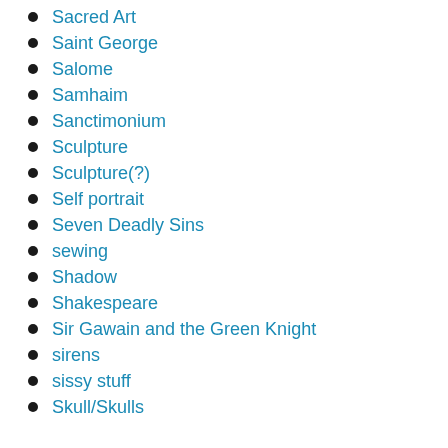Sacred Art
Saint George
Salome
Samhaim
Sanctimonium
Sculpture
Sculpture(?)
Self portrait
Seven Deadly Sins
sewing
Shadow
Shakespeare
Sir Gawain and the Green Knight
sirens
sissy stuff
Skull/Skulls